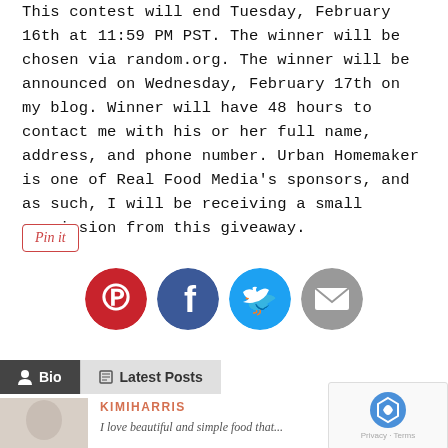This contest will end Tuesday, February 16th at 11:59 PM PST. The winner will be chosen via random.org. The winner will be announced on Wednesday, February 17th on my blog. Winner will have 48 hours to contact me with his or her full name, address, and phone number. Urban Homemaker is one of Real Food Media's sponsors, and as such, I will be receiving a small commission from this giveaway.
[Figure (other): Pin it button with red border and italic red text]
[Figure (other): Social sharing icons: Pinterest (red circle with P), Facebook (dark blue circle with f), Twitter (light blue circle with bird), Email (gray circle with envelope)]
Bio | Latest Posts
[Figure (photo): Author avatar photo - partial, light colored background]
KIMIHARRIS
I love beautiful and simple food that...